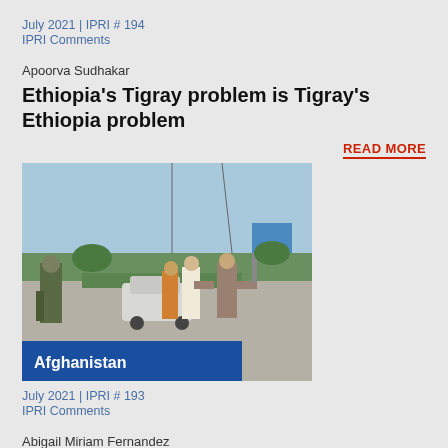July 2021 | IPRI # 194
IPRI Comments
Apoorva Sudhakar
Ethiopia's Tigray problem is Tigray's Ethiopia problem
READ MORE
[Figure (photo): A street checkpoint scene showing a soldier on the left holding a weapon, and civilians including a man with arms outstretched being searched, with a car and trees in the background. A blue label 'Afghanistan' overlays the bottom of the image.]
July 2021 | IPRI # 193
IPRI Comments
Abigail Miriam Fernandez
Five reasons why Afghanistan is closer to a civil war